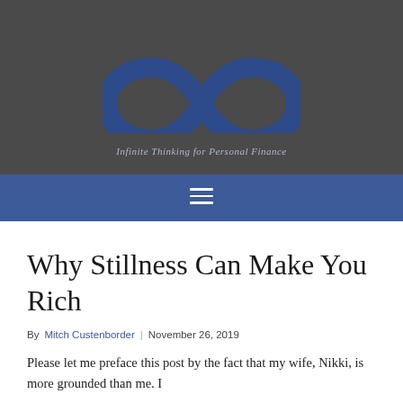[Figure (logo): Infinity symbol logo in dark blue on dark gray background for a personal finance blog]
Infinite Thinking for Personal Finance
Why Stillness Can Make You Rich
By Mitch Custenborder | November 26, 2019
Please let me preface this post by the fact that my wife, Nikki, is more grounded than me.  I